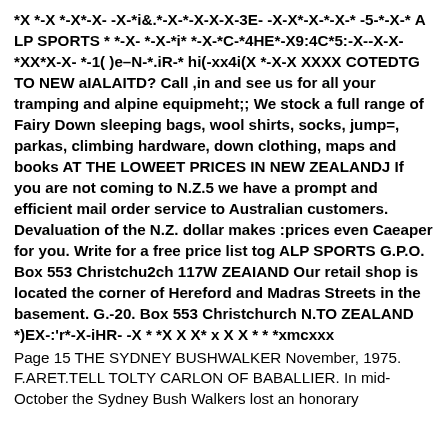*X *-X *-X*-X- -X-*i&.*-X-*-X-X-X-3E- -X-X*-X-*-X-* -5-*-X-* A LP SPORTS * *-X- *-X-*i* *-X-*C-*4HE*-X9:4C*5:-X--X-X-*XX*X-X- *-1( )e–N-*.iR-* hi(-xx4i(X *-X-X XXXX COTEDTG TO NEW aIALAITD? Call ,in and see us for all your tramping and alpine equipmeht;; We stock a full range of Fairy Down sleeping bags, wool shirts, socks, jump=, parkas, climbing hardware, down clothing, maps and books AT THE LOWEET PRICES IN NEW ZEALANDJ If you are not coming to N.Z.5 we have a prompt and efficient mail order service to Australian customers. Devaluation of the N.Z. dollar makes :prices even Caeaper for you. Write for a free price list tog ALP SPORTS G.P.O. Box 553 Christchu2ch 117W ZEAIAND Our retail shop is located the corner of Hereford and Madras Streets in the basement. G.-20. Box 553 Christchurch N.TO ZEALAND *)EX-:'r*-X-iHR- -X * *X X X* x X X * * *xmcxxx
Page 15 THE SYDNEY BUSHWALKER November, 1975.
F.ARET.TELL TOLTY CARLON OF BABALLIER. In mid-October the Sydney Bush Walkers lost an honorary